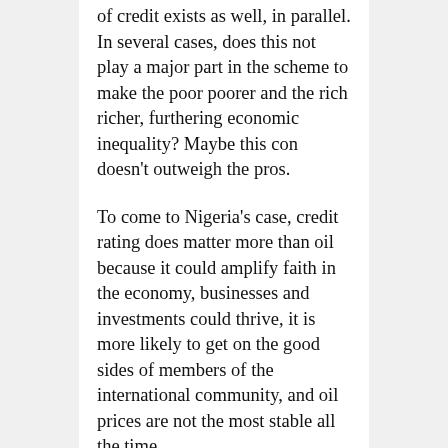of credit exists as well, in parallel. In several cases, does this not play a major part in the scheme to make the poor poorer and the rich richer, furthering economic inequality? Maybe this con doesn't outweigh the pros.
To come to Nigeria's case, credit rating does matter more than oil because it could amplify faith in the economy, businesses and investments could thrive, it is more likely to get on the good sides of members of the international community, and oil prices are not the most stable all the time.